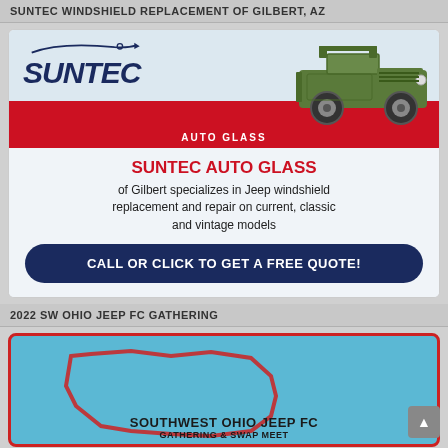SUNTEC WINDSHIELD REPLACEMENT OF GILBERT, AZ
[Figure (illustration): Suntec Auto Glass advertisement featuring the Suntec logo with swoosh, a green military Jeep illustration, a red bar with AUTO GLASS text, body text about Jeep windshield replacement, and a dark blue CTA button saying CALL OR CLICK TO GET A FREE QUOTE!]
2022 SW OHIO JEEP FC GATHERING
[Figure (illustration): Southwest Ohio Jeep FC Gathering & Swap Meet logo on light blue background with red border, showing outline of Ohio state and text SOUTHWEST OHIO JEEP FC GATHERING & SWAP MEET]